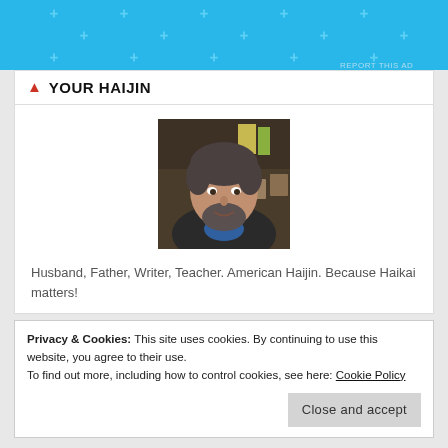[Figure (other): Blue advertisement banner at top of page with light dot pattern and 'REPORT THIS AD' label at bottom right]
YOUR HAIJIN
[Figure (photo): Profile photo of a middle-aged man with a beard sitting in what appears to be a home office or study]
Husband, Father, Writer, Teacher. American Haijin. Because Haikai matters!
Privacy & Cookies: This site uses cookies. By continuing to use this website, you agree to their use.
To find out more, including how to control cookies, see here: Cookie Policy
Close and accept
FOLLOW BLOG VIA EMAIL